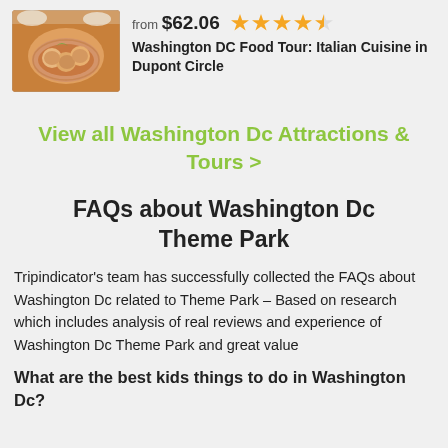[Figure (photo): Photo of Italian pasta dish on a white plate]
from $62.06
[Figure (other): Star rating: 4.5 out of 5 orange stars]
Washington DC Food Tour: Italian Cuisine in Dupont Circle
View all Washington Dc Attractions & Tours >
FAQs about Washington Dc Theme Park
Tripindicator's team has successfully collected the FAQs about Washington Dc related to Theme Park – Based on research which includes analysis of real reviews and experience of Washington Dc Theme Park and great value
What are the best kids things to do in Washington Dc?